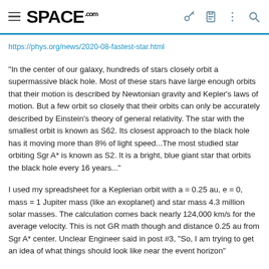SPACE.com
https://phys.org/news/2020-08-fastest-star.html
"In the center of our galaxy, hundreds of stars closely orbit a supermassive black hole. Most of these stars have large enough orbits that their motion is described by Newtonian gravity and Kepler's laws of motion. But a few orbit so closely that their orbits can only be accurately described by Einstein's theory of general relativity. The star with the smallest orbit is known as S62. Its closest approach to the black hole has it moving more than 8% of light speed...The most studied star orbiting Sgr A* is known as S2. It is a bright, blue giant star that orbits the black hole every 16 years..."
I used my spreadsheet for a Keplerian orbit with a = 0.25 au, e = 0, mass = 1 Jupiter mass (like an exoplanet) and star mass 4.3 million solar masses. The calculation comes back nearly 124,000 km/s for the average velocity. This is not GR math though and distance 0.25 au from Sgr A* center. Unclear Engineer said in post #3, "So, I am trying to get an idea of what things should look like near the event horizon"